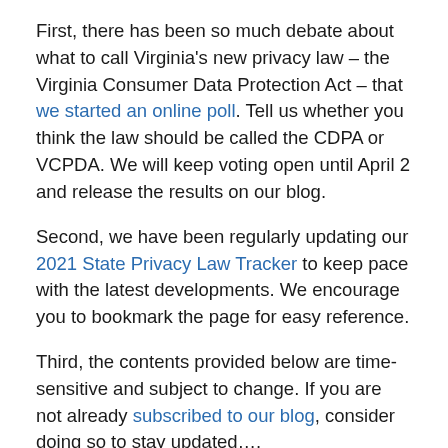First, there has been so much debate about what to call Virginia's new privacy law – the Virginia Consumer Data Protection Act – that we started an online poll. Tell us whether you think the law should be called the CDPA or VCPDA. We will keep voting open until April 2 and release the results on our blog.
Second, we have been regularly updating our 2021 State Privacy Law Tracker to keep pace with the latest developments. We encourage you to bookmark the page for easy reference.
Third, the contents provided below are time-sensitive and subject to change. If you are not already subscribed to our blog, consider doing so to stay updated….
Continue Reading